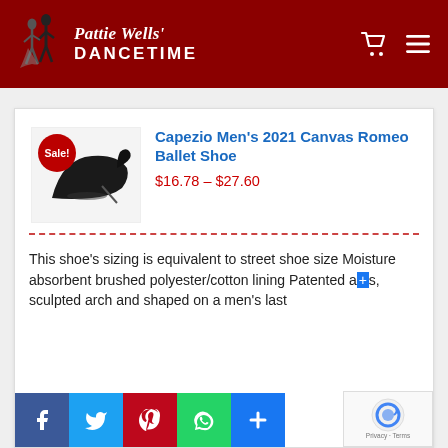[Figure (logo): Pattie Wells' Dancetime logo with dancing couple silhouette on dark red header background]
Capezio Men’s 2021 Canvas Romeo Ballet Shoe
$16.78 – $27.60
This shoe’s sizing is equivalent to street shoe size Moisture absorbent brushed polyester/cotton lining Patented a...s, sculpted arch and shaped on a men’s last